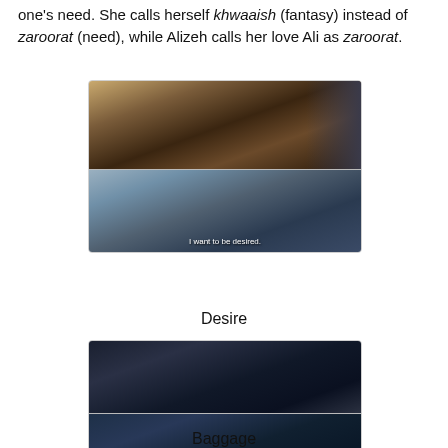one's need. She calls herself khwaaish (fantasy) instead of zaroorat (need), while Alizeh calls her love Ali as zaroorat.
[Figure (photo): Two stacked film stills labeled 'Desire'. Top panel shows a woman with red lipstick and dark hair in a close-up. Bottom panel shows a woman in white with the subtitle 'I want to be desired'.]
Desire
[Figure (photo): Two stacked film stills labeled 'Baggage'. Top panel shows a man standing in a dark outdoor scene at night. Bottom panel shows a young man in a denim jacket in an interior scene.]
Baggage